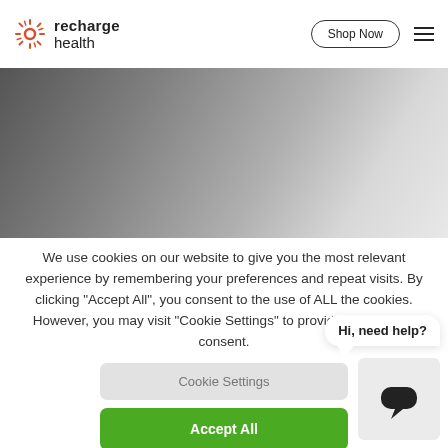recharge health — Shop Now (navigation)
[Figure (photo): Hero image with dark to light gray gradient background, partially visible website hero section]
We use cookies on our website to give you the most relevant experience by remembering your preferences and repeat visits. By clicking "Accept All", you consent to the use of ALL the cookies. However, you may visit "Cookie Settings" to provide a controlled consent.
Cookie Settings
Accept All
Hi, need help?